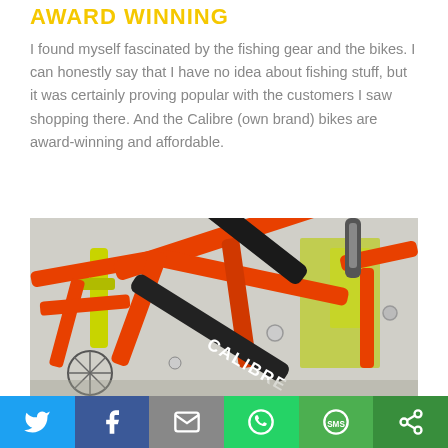AWARD WINNING
I found myself fascinated by the fishing gear and the bikes. I can honestly say that I have no idea about fishing stuff, but it was certainly proving popular with the customers I saw shopping there. And the Calibre (own brand) bikes are award-winning and affordable.
[Figure (photo): Close-up photo of orange Calibre brand mountain bikes with black frames and components, displayed in a shop with yellow bikes visible in the background.]
[Figure (infographic): Social media share bar with icons for Twitter, Facebook, Email, WhatsApp, SMS, and a share/other button.]